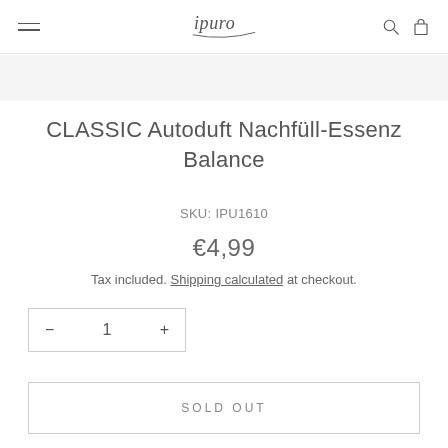ipuro
CLASSIC Autoduft Nachfüll-Essenz Balance
SKU: IPU1610
€4,99
Tax included. Shipping calculated at checkout.
− 1 +
SOLD OUT